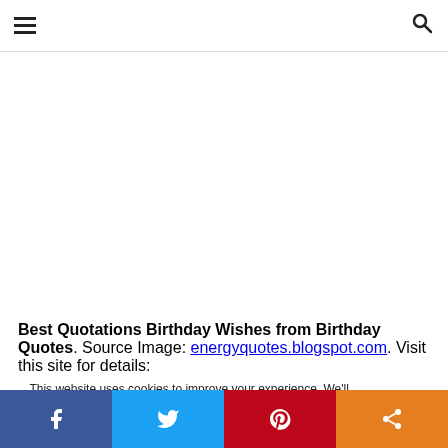≡  🔍
Best Quotations Birthday Wishes from Birthday Quotes. Source Image: energyquotes.blogspot.com. Visit this site for details: energyquotes.blogspot.com
This website uses cookies to improve your experience. We'll assume you're ok with this, but you can opt-out if you wish.
Facebook  Twitter  Pinterest  Share